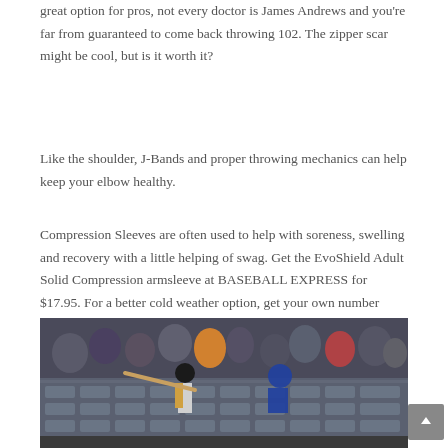great option for pros, not every doctor is James Andrews and you're far from guaranteed to come back throwing 102. The zipper scar might be cool, but is it worth it?
Like the shoulder, J-Bands and proper throwing mechanics can help keep your elbow healthy.
Compression Sleeves are often used to help with soreness, swelling and recovery with a little helping of swag. Get the EvoShield Adult Solid Compression armsleeve at BASEBALL EXPRESS for $17.95. For a better cold weather option, get your own number embroidered on a heavier cotton sleeve at CustomNumbered.com for $30.
[Figure (photo): A baseball batter swinging at a pitch with a catcher behind home plate, crowd visible in the background with stadium seats]